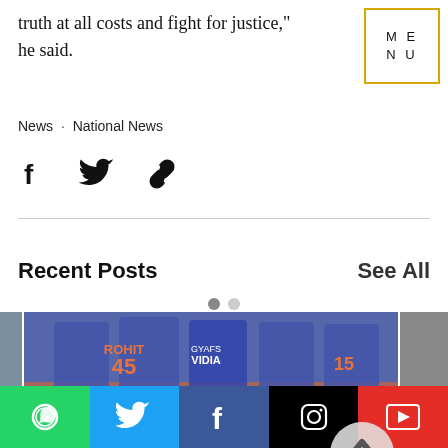truth at all costs and fight for justice," he said.
[Figure (screenshot): Menu box with letters M E N U in a yellow-bordered box]
News · National News
[Figure (infographic): Social share icons: Facebook, Twitter, link/chain]
Recent Posts
See All
[Figure (photo): Cricket team photo showing India players with ROHIT 45 jersey and GYAFS VIDIA jersey on top half, Pakistan players shaking hands on bottom half. A circular back-to-top arrow button is visible.]
[Figure (infographic): Bottom social media bar with icons for WhatsApp (green), Twitter (blue), Facebook (dark blue), Instagram (black), YouTube (red)]